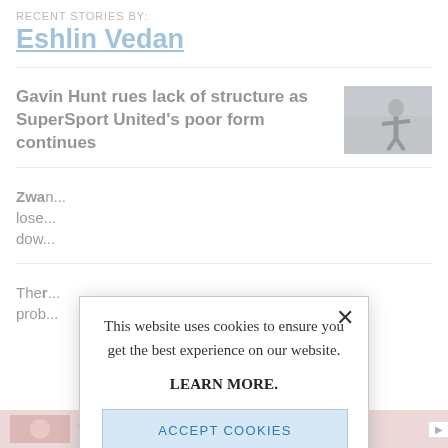RECENT STORIES BY:
Eshlin Vedan
Gavin Hunt rues lack of structure as SuperSport United's poor form continues
[Figure (photo): Thumbnail photo of a person (Gavin Hunt) on a sports field]
Zwa... lose... dow...
Ther... prob...
This website uses cookies to ensure you get the best experience on our website.
LEARN MORE.
ACCEPT COOKIES